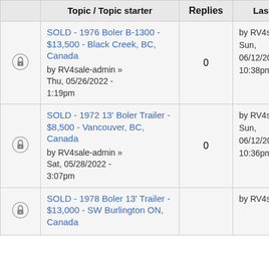|  | Topic / Topic starter | Replies | Last post |
| --- | --- | --- | --- |
| [lock icon] | SOLD - 1976 Boler B-1300 - $13,500 - Black Creek, BC, Canada
by RV4sale-admin » Thu, 05/26/2022 - 1:19pm | 0 | by RV4sale-admin
Sun, 06/12/2022 - 10:38pm |
| [lock icon] | SOLD - 1972 13' Boler Trailer - $8,500 - Vancouver, BC, Canada
by RV4sale-admin » Sat, 05/28/2022 - 3:07pm | 0 | by RV4sale-admin
Sun, 06/12/2022 - 10:36pm |
| [lock icon] | SOLD - 1978 Boler 13' Trailer - $13,000 - SW Burlington ON, Canada |  | by RV4sale-admin |